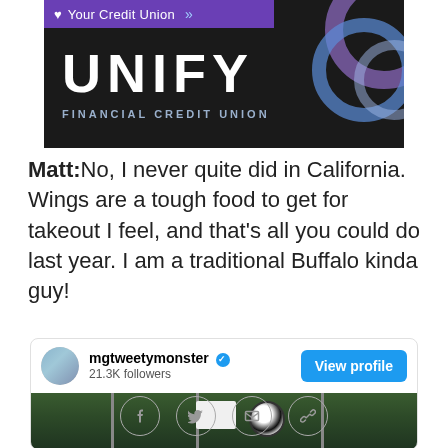[Figure (logo): Unify Financial Credit Union advertisement banner with dark background, purple top bar with heart icon and 'Your Credit Union' text, large white UNIFY text, and blue decorative circles on the right]
Matt: No, I never quite did in California. Wings are a tough food to get for takeout I feel, and that's all you could do last year. I am a traditional Buffalo kinda guy!
[Figure (screenshot): Twitter/social media card for user mgtweetymonster with 21.3K followers, blue verified checkmark, View profile button, and a photo of flags and a soccer ball against green trees background]
Social share icons: Facebook, Twitter, Email, Link